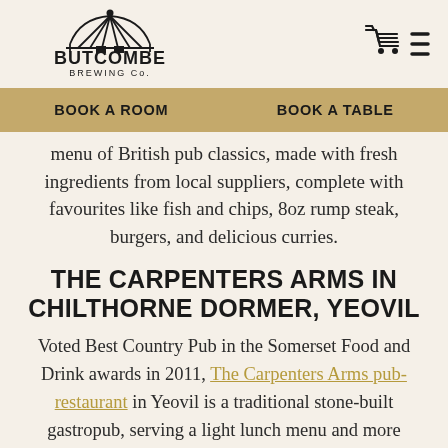[Figure (logo): Butcombe Brewing Co. logo with bridge illustration]
[Figure (illustration): Shopping cart and hamburger menu icons in top right]
BOOK A ROOM   BOOK A TABLE
menu of British pub classics, made with fresh ingredients from local suppliers, complete with favourites like fish and chips, 8oz rump steak, burgers, and delicious curries.
THE CARPENTERS ARMS IN CHILTHORNE DORMER, YEOVIL
Voted Best Country Pub in the Somerset Food and Drink awards in 2011, The Carpenters Arms pub-restaurant in Yeovil is a traditional stone-built gastropub, serving a light lunch menu and more